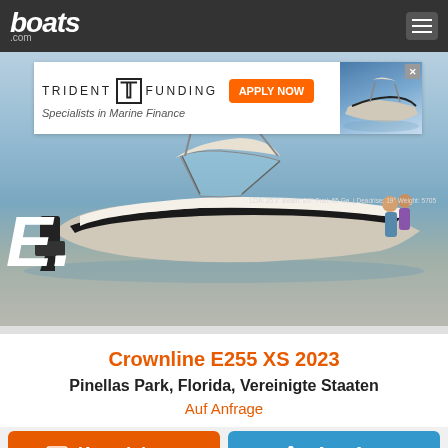boats.com
[Figure (photo): Trident Funding advertisement banner - Specialists in Marine Finance with APPLY NOW button and boat image]
[Figure (photo): Crownline E255 XS 2023 speedboat on water, white and black hull with outboard motor, two people standing at stern]
Crownline E255 XS 2023
Pinellas Park, Florida, Vereinigte Staaten
Auf Anfrage
Kontaktieren
Anrufen